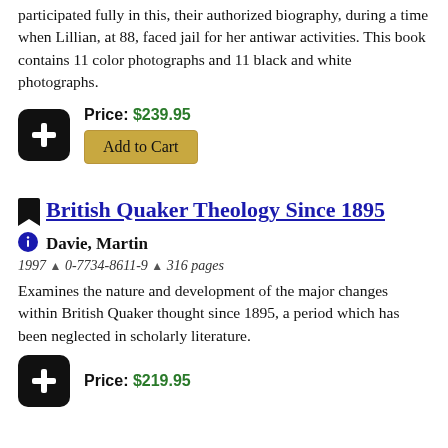participated fully in this, their authorized biography, during a time when Lillian, at 88, faced jail for her antiwar activities. This book contains 11 color photographs and 11 black and white photographs.
Price: $239.95
Add to Cart
British Quaker Theology Since 1895
Davie, Martin
1997 ▲ 0-7734-8611-9 ▲ 316 pages
Examines the nature and development of the major changes within British Quaker thought since 1895, a period which has been neglected in scholarly literature.
Price: $219.95